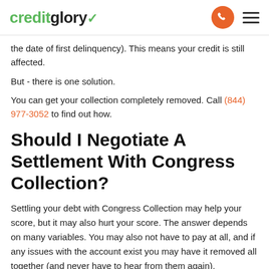creditglory [logo] [phone icon] [menu icon]
the date of first delinquency). This means your credit is still affected.
But - there is one solution.
You can get your collection completely removed. Call (844) 977-3052 to find out how.
Should I Negotiate A Settlement With Congress Collection?
Settling your debt with Congress Collection may help your score, but it may also hurt your score. The answer depends on many variables. You may also not have to pay at all, and if any issues with the account exist you may have it removed all together (and never have to hear from them again).